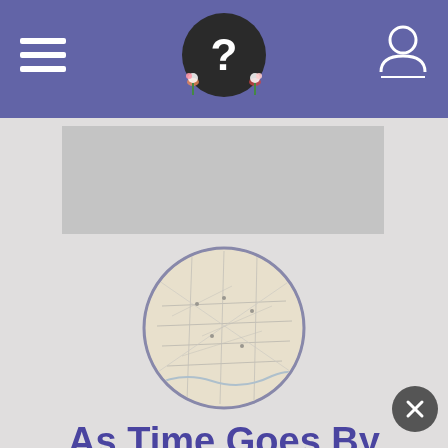Navigation header with hamburger menu, Find A Grave logo, and user icon
[Figure (illustration): Ad banner placeholder (gray rectangle)]
[Figure (map): Circular map image used as profile picture for 'As Time Goes By' user account]
As Time Goes By
MEMBER FOR
20 years · 7 months · 1 day
FIND A GRAVE ID
46520230